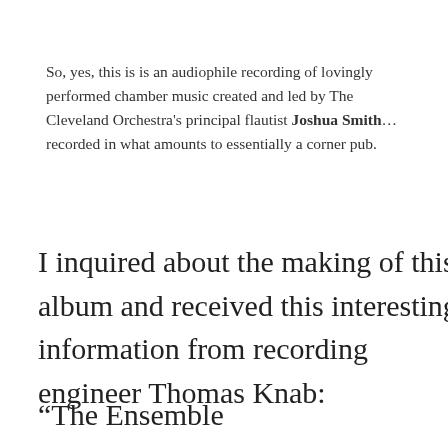So, yes, this is is an audiophile recording of lovingly performed chamber music created and led by The Cleveland Orchestra's principal flautist Joshua Smith… recorded in what amounts to essentially a corner pub.
I inquired about the making of this album and received this interesting information from recording engineer Thomas Knab:
“The Ensemble
[Figure (photo): Photo of a bar or pub interior with colorful green and orange stage lighting, partial pink/red overlay on right side]